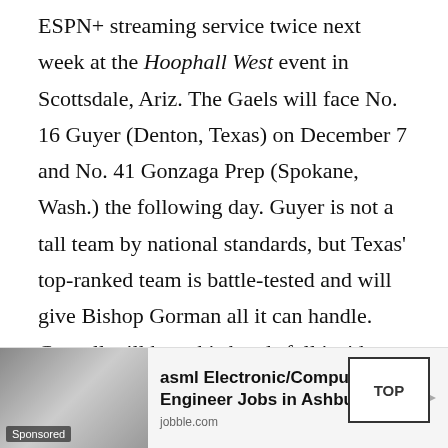ESPN+ streaming service twice next week at the Hoophall West event in Scottsdale, Ariz. The Gaels will face No. 16 Guyer (Denton, Texas) on December 7 and No. 41 Gonzaga Prep (Spokane, Wash.) the following day. Guyer is not a tall team by national standards, but Texas' top-ranked team is battle-tested and will give Bishop Gorman all it can handle. Cottrell will have his hands full inside with Gonzaga-bound Anton Watson of Gonzaga Prep, which will likely face No. 30 Federal Way down the line for a Washington state crown. For these teams, however, there's still a [faded] to go [faded] ... [faded] offs.
[Figure (other): TOP button overlay (square box with text TOP)]
[Figure (other): Sponsored advertisement banner for asml Electronic/Computer Engineer Jobs in Ashburn on jobble.com, with a photo of a worker in a hard hat]